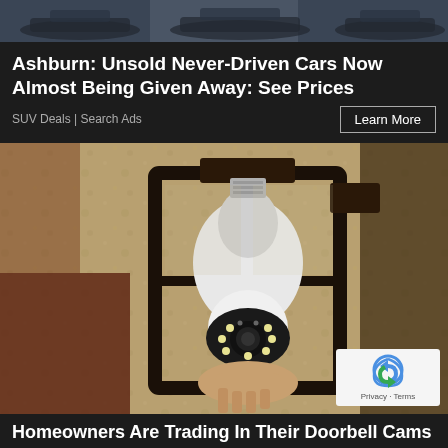[Figure (photo): Top banner strip showing cars/vehicles in dark tones]
Ashburn: Unsold Never-Driven Cars Now Almost Being Given Away: See Prices
SUV Deals | Search Ads
[Figure (photo): A security camera shaped like a light bulb installed inside a dark metal lantern fixture mounted on a textured stucco wall. A hand is holding/installing it. A reCAPTCHA badge with 'Privacy - Terms' is overlaid in the bottom right.]
Homeowners Are Trading In Their Doorbell Cams